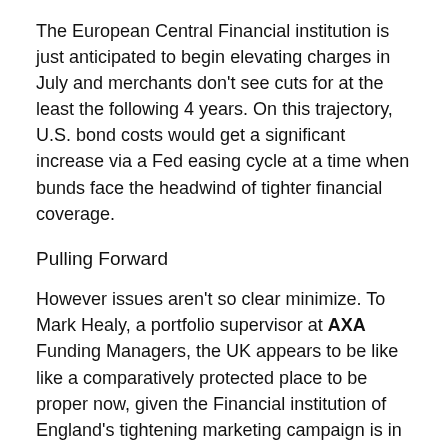The European Central Financial institution is just anticipated to begin elevating charges in July and merchants don't see cuts for at the least the following 4 years. On this trajectory, U.S. bond costs would get a significant increase via a Fed easing cycle at a time when bunds face the headwind of tighter financial coverage.
Pulling Forward
However issues aren't so clear minimize. To Mark Healy, a portfolio supervisor at AXA Funding Managers, the UK appears to be like like a comparatively protected place to be proper now, given the Financial institution of England's tightening marketing campaign is in swing, however bonds within the euro space could but provide alternatives.
“We’d favor the UK probably the most, then the US after which Europe, although we’d most likely push again a bit by some of the tempo of ECB tightening priced in,” mentioned